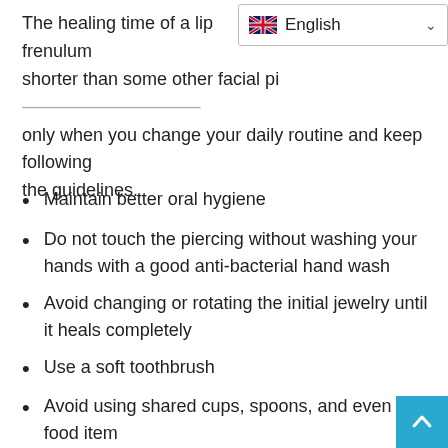The healing time of a lip frenulum shorter than some other facial pi... But this happens only when you change your daily routine and keep following the guidelines.
[Figure (screenshot): English language selector dropdown with UK flag]
Maintain better oral hygiene
Do not touch the piercing without washing your hands with a good anti-bacterial hand wash
Avoid changing or rotating the initial jewelry until it heals completely
Use a soft toothbrush
Avoid using shared cups, spoons, and even the food item
Avoid spicy food
Do not drink alcohol and hot drinks
Avoid touching your jewelry with your tongue